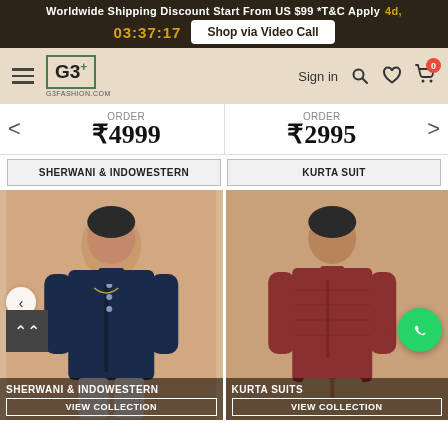Worldwide Shipping Discount Start From US $99 *T&C Apply  4d, 03:37:17  Shop via Video Call
G3+ G3FASHION.COM  Sign in  0
₹4999
₹2995
SHERWANI & INDOWESTERN
KURTA SUIT
[Figure (photo): Boy wearing navy blue sherwani indowestern outfit]
[Figure (photo): Boy wearing dark red/maroon kurta suit]
SHERWANI & INDOWESTERN
VIEW COLLECTION
KURTA SUITS
VIEW COLLECTION